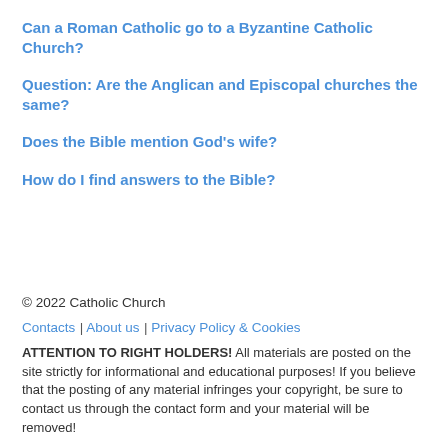Can a Roman Catholic go to a Byzantine Catholic Church?
Question: Are the Anglican and Episcopal churches the same?
Does the Bible mention God’s wife?
How do I find answers to the Bible?
© 2022 Catholic Church
Contacts | About us | Privacy Policy & Cookies
ATTENTION TO RIGHT HOLDERS! All materials are posted on the site strictly for informational and educational purposes! If you believe that the posting of any material infringes your copyright, be sure to contact us through the contact form and your material will be removed!